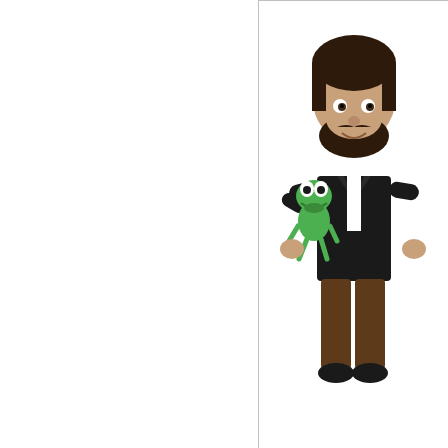[Figure (illustration): A Funko Pop-style vinyl figure concept art showing a bearded man in dark clothing holding a small green Kermit the Frog figure. Below the illustration is text reading 'CONCEPT SUBJECT' in light gray, and a color bar at the bottom with blue and yellow/gold stripes.]
One of the most exciting announcements this weekend was Funko's upcoming Icons vinyl figures!!! With this new line, puppeteer, inventor, filmmaker, and pop culture incredible and beloved creator, Oscar the Grouch, and Big Bird, accompanied by Kermit the Frog. Funko is also releasing a Jim exclusively at Target. These are Sesame Street!